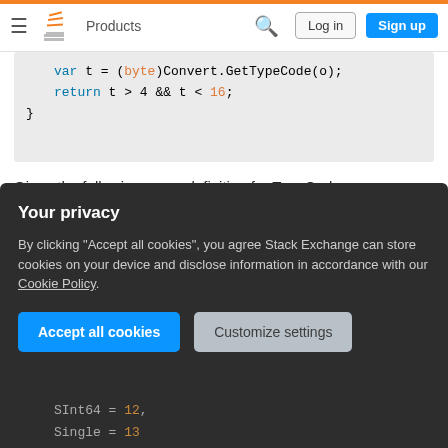Stack Overflow — Products | Log in | Sign up
[Figure (screenshot): Code block showing: var t = (byte)Convert.GetTypeCode(o); return t > 4 && t < 16; }]
Given the following enum definition for TypeCode:
[Figure (screenshot): Code block showing public enum TypeCode { Empty = 0, Object = 1, DBNull = 2, Boolean = 3, Char = 4, ...]
Your privacy
By clicking "Accept all cookies", you agree Stack Exchange can store cookies on your device and disclose information in accordance with our Cookie Policy.
Accept all cookies   Customize settings